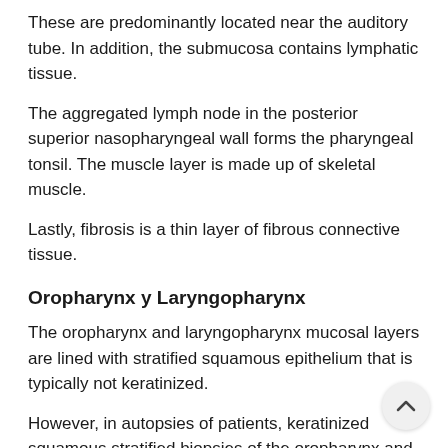These are predominantly located near the auditory tube. In addition, the submucosa contains lymphatic tissue.
The aggregated lymph node in the posterior superior nasopharyngeal wall forms the pharyngeal tonsil. The muscle layer is made up of skeletal muscle.
Lastly, fibrosis is a thin layer of fibrous connective tissue.
Oropharynx y Laryngopharynx
The oropharynx and laryngopharynx mucosal layers are lined with stratified squamous epithelium that is typically not keratinized.
However, in autopsies of patients, keratinized squamous stratified biopsies of the oropharynx and laryngopharynx have been identified.